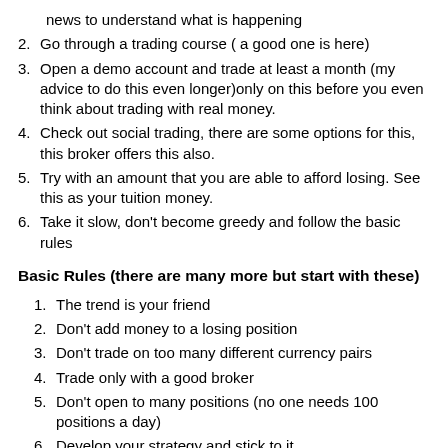news to understand what is happening
2. Go through a trading course ( a good one is here)
3. Open a demo account and trade at least a month (my advice to do this even longer)only on this before you even think about trading with real money.
4. Check out social trading, there are some options for this, this broker offers this also.
5. Try with an amount that you are able to afford losing. See this as your tuition money.
6. Take it slow, don't become greedy and follow the basic rules
Basic Rules (there are many more but start with these)
1. The trend is your friend
2. Don't add money to a losing position
3. Don't trade on too many different currency pairs
4. Trade only with a good broker
5. Don't open to many positions (no one needs 100 positions a day)
6. Develop your strategy and stick to it.
7. Know that NO ONE is 100% of the times right, everyone loses some.
8. Last but not least, don't trade with money you cannot...